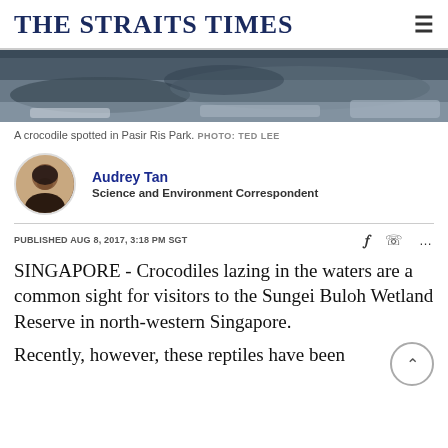THE STRAITS TIMES
[Figure (photo): Crocodile spotted at Pasir Ris Park, close-up image showing the crocodile near water and rocky terrain]
A crocodile spotted in Pasir Ris Park.  PHOTO: TED LEE
Audrey Tan
Science and Environment Correspondent
PUBLISHED AUG 8, 2017, 3:18 PM SGT
SINGAPORE - Crocodiles lazing in the waters are a common sight for visitors to the Sungei Buloh Wetland Reserve in north-western Singapore.
Recently, however, these reptiles have been